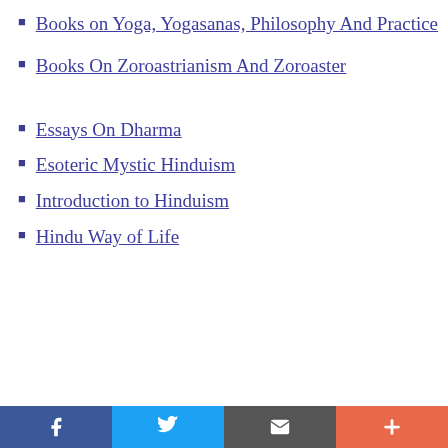Books on Yoga, Yogasanas, Philosophy And Practice
Books On Zoroastrianism And Zoroaster
Essays On Dharma
Esoteric Mystic Hinduism
Introduction to Hinduism
Hindu Way of Life
Facebook | Twitter | Email | More